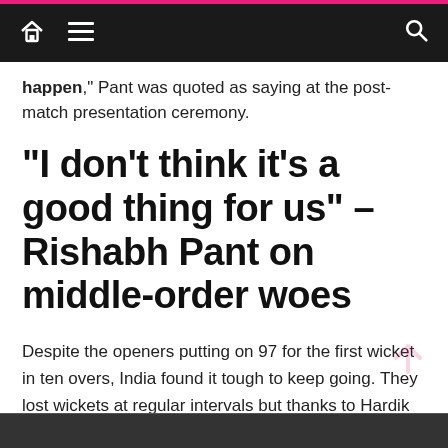Navigation bar with home, menu, and search icons
happen,” Pant was quoted as saying at the post-match presentation ceremony.
“I don’t think it’s a good thing for us” – Rishabh Pant on middle-order woes
Despite the openers putting on 97 for the first wicket in ten overs, India found it tough to keep going. They lost wickets at regular intervals but thanks to Hardik Pandya, managed to push the total to 179.
[Figure (photo): Dark image strip at bottom of page]